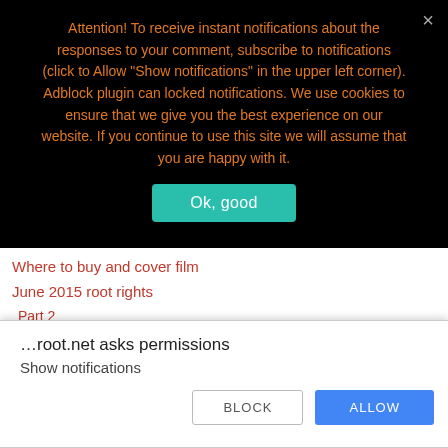Attention! To receive instant notifications about the responses to your comment, subscribe to notifications (click to Allow "Show notifications" in the upper left corner). Adblock plugin can locked notifications. We use cookies to ensure that we give you the best experience on our website. If you continue to use this site we will assume that you are happy with it.
Ok, good
Where to buy and cover film
June 2015 root rights
Part 2
Knowledge Base root access
78dian
…root.net asks permissions
Show notifications
BLOCK
ALLOW